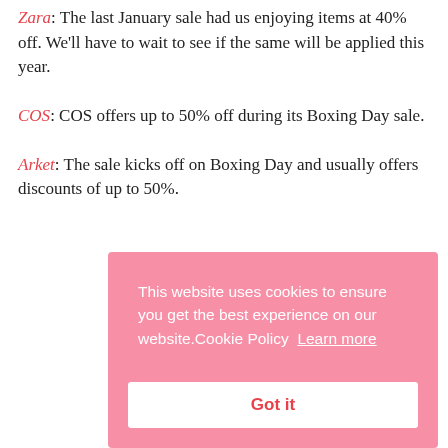Zara: The last January sale had us enjoying items at 40% off. We'll have to wait to see if the same will be applied this year.
COS: COS offers up to 50% off during its Boxing Day sale.
Arket: The sale kicks off on Boxing Day and usually offers discounts of up to 50%.
This website uses cookies to ensure you get the best experience on our website. Cookie Policy Learn more
Got it